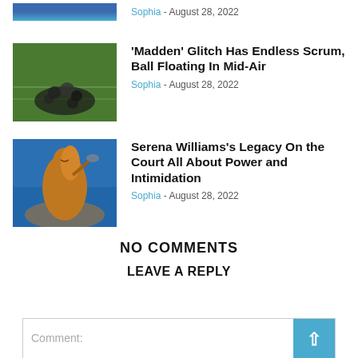[Figure (photo): Partial sports photo (top cropped) with blue tones]
Sophia - August 28, 2022
[Figure (photo): Football field with players in a scrum, green field]
'Madden' Glitch Has Endless Scrum, Ball Floating In Mid-Air
Sophia - August 28, 2022
[Figure (photo): Serena Williams on blue tennis court background, celebrating]
Serena Williams's Legacy On the Court All About Power and Intimidation
Sophia - August 28, 2022
NO COMMENTS
LEAVE A REPLY
Comment: